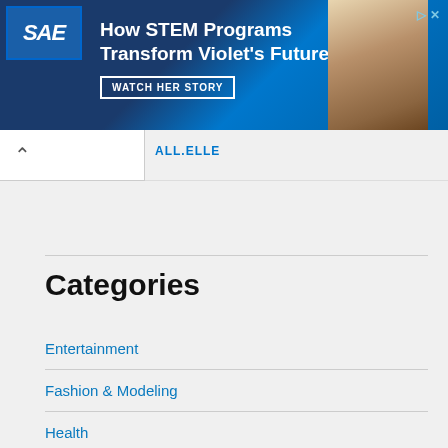[Figure (other): SAE advertisement banner: 'How STEM Programs Transform Violet's Future – WATCH HER STORY' with logo and photo of child]
Categories
Entertainment
Fashion & Modeling
Health
News
Politics